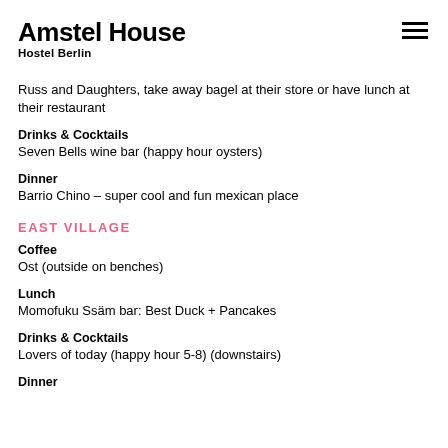Amstel House Hostel Berlin
Russ and Daughters, take away bagel at their store or have lunch at their restaurant
Drinks & Cocktails
Seven Bells wine bar (happy hour oysters)
Dinner
Barrio Chino – super cool and fun mexican place
EAST VILLAGE
Coffee
Ost (outside on benches)
Lunch
Momofuku Ssäm bar: Best Duck + Pancakes
Drinks & Cocktails
Lovers of today (happy hour 5-8) (downstairs)
Dinner